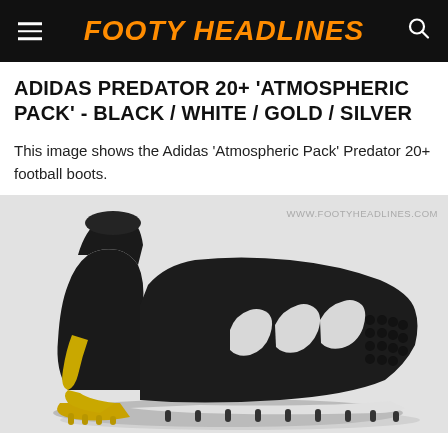FOOTY HEADLINES
ADIDAS PREDATOR 20+ 'ATMOSPHERIC PACK' - BLACK / WHITE / GOLD / SILVER
This image shows the Adidas 'Atmospheric Pack' Predator 20+ football boots.
[Figure (photo): Adidas Predator 20+ football boot in black with white stripes, gold heel and sole plate, shown in side profile on a light grey background. Watermark reads WWW.FOOTYHEADLINES.COM]